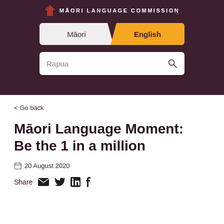MĀORI LANGUAGE COMMISSION
[Figure (screenshot): Language toggle tab bar with Māori and English options, and a search field containing 'Rapua']
< Go back
Māori Language Moment: Be the 1 in a million
20 August 2020
Share